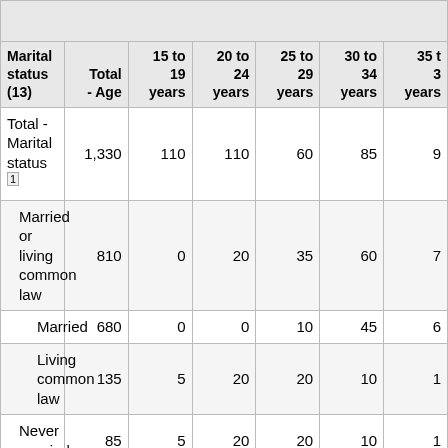| Marital status (13) | Total - Age | 15 to 19 years | 20 to 24 years | 25 to 29 years | 30 to 34 years | 35 to 39 years |
| --- | --- | --- | --- | --- | --- | --- |
| Total - Marital status 1 | 1,330 | 110 | 110 | 60 | 85 | 90 |
| Married or living common law | 810 | 0 | 20 | 35 | 60 | 70 |
| Married | 680 | 0 | 0 | 10 | 45 | 60 |
| Living common law | 135 | 5 | 20 | 20 | 10 | 15 |
| Never married | 85 | 5 | 20 | 20 | 10 | 10 |
| Separated | 10 | 0 | 0 | 0 | 5 | 0 |